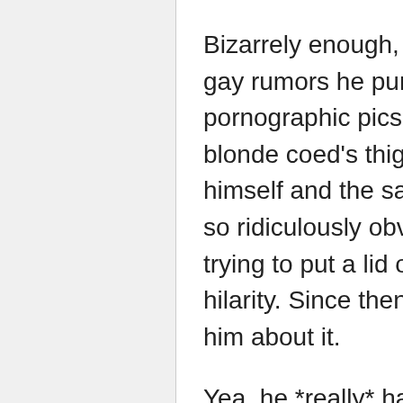Bizarrely enough, he was so incensed at the gay rumors he purportedly staged these pornographic pics of himself face deep btw a blonde coed's thighs, and a few other pics of himself and the same girl's sex session. It was so ridiculously obvious what he appeared to be trying to put a lid on, that the end result was hilarity. Since then other ballers have teased him about it.
Yea, he *really* hates the gay rumors, most likely because he is very deeply closeted.
Careful Z. Daddy was smart to tag along. Never know what someone desperate to prove what they think masculinity is, might do.